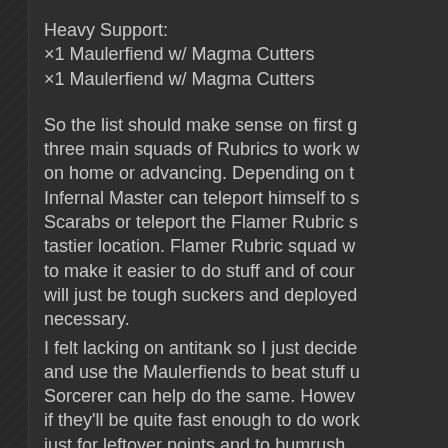Heavy Support:
×1 Maulerfiend w/ Magma Cutters
×1 Maulerfiend w/ Magma Cutters
So the list should make sense on first g... three main squads of Rubrics to work w... on home or advancing. Depending on t... Infernal Master can teleport himself to s... Scarabs or teleport the Flamer Rubric s... tastier location. Flamer Rubric squad w... to make it easier to do stuff and of cour... will just be tough suckers and deployed... necessary.
I felt lacking on antitank so I just decide... and use the Maulerfiends to beat stuff u... Sorcerer can help do the same. Howev... if they'll be quite fast enough to do work... just for leftover points and to bumrush...